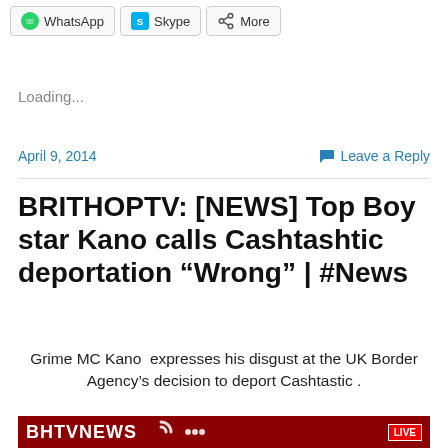[Figure (screenshot): Share buttons row: WhatsApp, Skype, More]
Loading...
April 9, 2014    Leave a Reply
BRITHOPTV: [NEWS] Top Boy star Kano calls Cashtashtic deportation “Wrong” | #News
Grime MC Kano  expresses his disgust at the UK Border Agency’s decision to deport Cashtastic .
[Figure (screenshot): BHTV NEWS red banner with live badge]